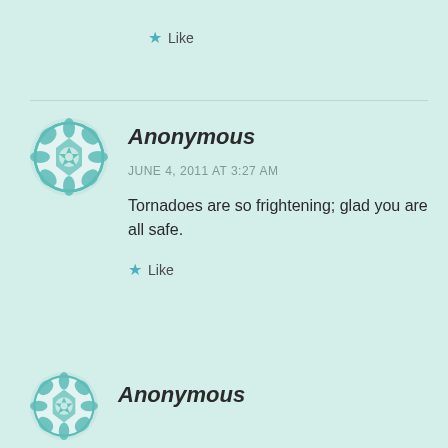★ Like
[Figure (illustration): Teal geometric/mandala pattern avatar icon for Anonymous commenter]
Anonymous
JUNE 4, 2011 AT 3:27 AM
Tornadoes are so frightening; glad you are all safe.
★ Like
[Figure (illustration): Teal geometric/mandala pattern avatar icon for second Anonymous commenter]
Anonymous